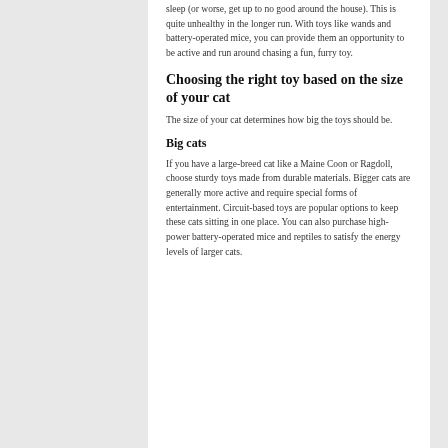sleep (or worse, get up to no good around the house). This is quite unhealthy in the longer run. With toys like wands and battery-operated mice, you can provide them an opportunity to be active and run around chasing a fun, furry toy.
Choosing the right toy based on the size of your cat
The size of your cat determines how big the toys should be.
Big cats
If you have a large-breed cat like a Maine Coon or Ragdoll, choose sturdy toys made from durable materials. Bigger cats are generally more active and require special forms of entertainment. Circuit-based toys are popular options to keep these cats sitting in one place. You can also purchase high-power battery-operated mice and reptiles to satisfy the energy levels of larger cats.